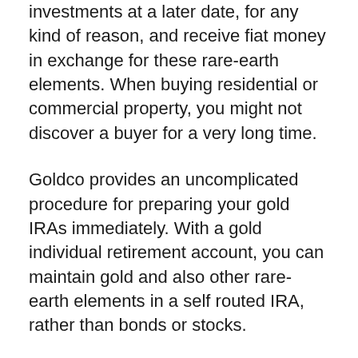investments at a later date, for any kind of reason, and receive fiat money in exchange for these rare-earth elements. When buying residential or commercial property, you might not discover a buyer for a very long time.
Goldco provides an uncomplicated procedure for preparing your gold IRAs immediately. With a gold individual retirement account, you can maintain gold and also other rare-earth elements in a self routed IRA, rather than bonds or stocks.
To sign up an account, visit the Goldco website, fill out the application with the necessary details, after that select just how to transfer into your individual retirement